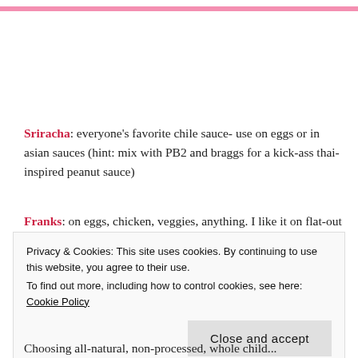[Figure (other): Pink horizontal bar at top of page]
Sriracha: everyone's favorite chile sauce- use on eggs or in asian sauces (hint: mix with PB2 and braggs for a kick-ass thai-inspired peanut sauce)
Franks: on eggs, chicken, veggies, anything. I like it on flat-out pizzas too.
Privacy & Cookies: This site uses cookies. By continuing to use this website, you agree to their use.
To find out more, including how to control cookies, see here: Cookie Policy
Close and accept
Choosing all-natural, non-processed, whole child...